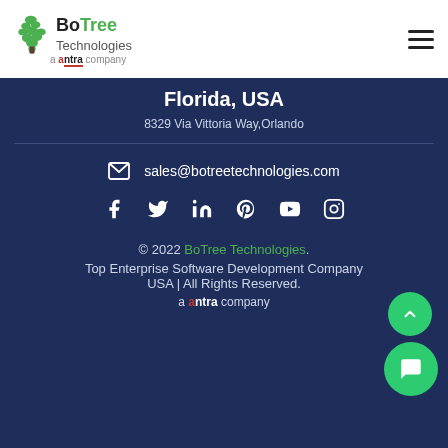[Figure (logo): BoTree Technologies logo with green tree icon and 'a antra company' text below]
Florida, USA
8329 Via Vittoria Way,Orlando
sales@botreetechnologies.com
[Figure (infographic): Social media icons row: Facebook, Twitter, LinkedIn, Pinterest, YouTube, Instagram]
© 2022 BoTree Technologies. Top Enterprise Software Development Company USA | All Rights Reserved. a antra company